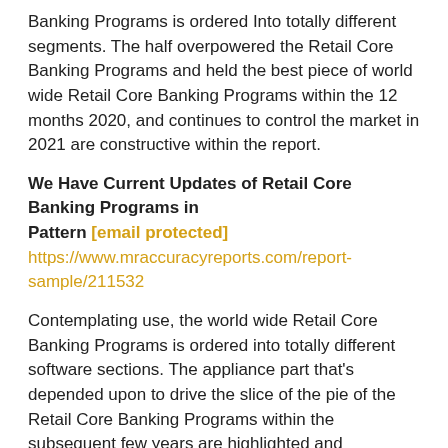Banking Programs is ordered Into totally different segments. The half overpowered the Retail Core Banking Programs and held the best piece of world wide Retail Core Banking Programs within the 12 months 2020, and continues to control the market in 2021 are constructive within the report.
We Have Current Updates of Retail Core Banking Programs in
Pattern [email protected] https://www.mraccuracyreports.com/report-sample/211532
Contemplating use, the world wide Retail Core Banking Programs is ordered into totally different software sections. The appliance part that's depended upon to drive the slice of the pie of the Retail Core Banking Programs within the subsequent few years are highlighted and considered within the report. The